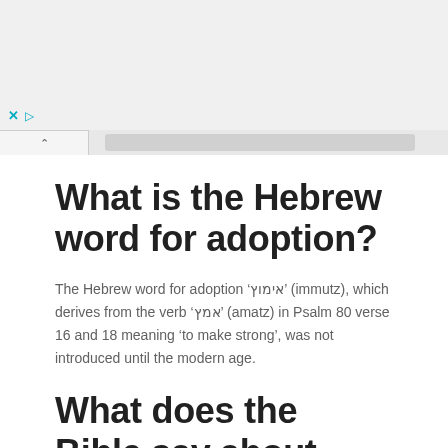Browser UI chrome with ad controls and tab bar
What is the Hebrew word for adoption?
The Hebrew word for adoption 'אימוץ' (immutz), which derives from the verb 'אמץ' (amatz) in Psalm 80 verse 16 and 18 meaning 'to make strong', was not introduced until the modern age.
What does the Bible say about taking care of...